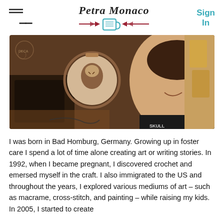Petra Monaco | Sign In
[Figure (photo): A woman smiling, sitting near embroidery hoops and craft supplies including a wood-burning or pyrography tool. One hoop contains a portrait artwork. The setting appears to be a craft workspace.]
I was born in Bad Homburg, Germany. Growing up in foster care I spend a lot of time alone creating art or writing stories. In 1992, when I became pregnant, I discovered crochet and emersed myself in the craft. I also immigrated to the US and throughout the years, I explored various mediums of art – such as macrame, cross-stitch, and painting – while raising my kids. In 2005, I started to create...